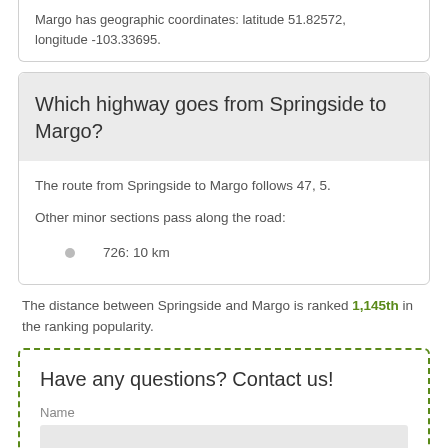Margo has geographic coordinates: latitude 51.82572, longitude -103.33695.
Which highway goes from Springside to Margo?
The route from Springside to Margo follows 47, 5.
Other minor sections pass along the road:
726: 10 km
The distance between Springside and Margo is ranked 1,145th in the ranking popularity.
Have any questions? Contact us!
Name